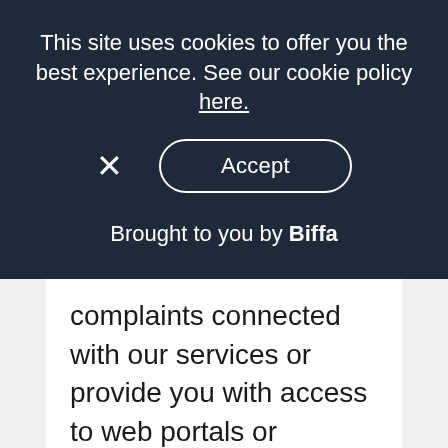This site uses cookies to offer you the best experience. See our cookie policy here.
× Accept
Brought to you by Biffa
complaints connected with our services or provide you with access to web portals or newsletters. In these cases, it will unfortunately not be possible